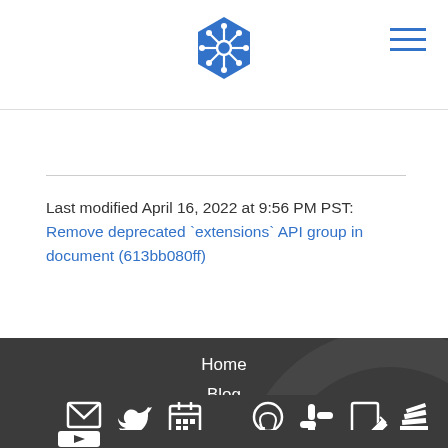[Figure (logo): Kubernetes helm wheel logo in blue, hexagonal shape]
[Figure (other): Hamburger menu icon with three horizontal blue lines]
Last modified April 16, 2022 at 9:56 PM PST: Remove deprecated `extensions` API group in document (613bb080ff)
Home
Blog
Training
Partners
Community
Case Studies
[Figure (other): Social media icons row: email, Twitter, calendar/events, GitHub, Slack, edit, stack-overflow style icons, and YouTube icon below]